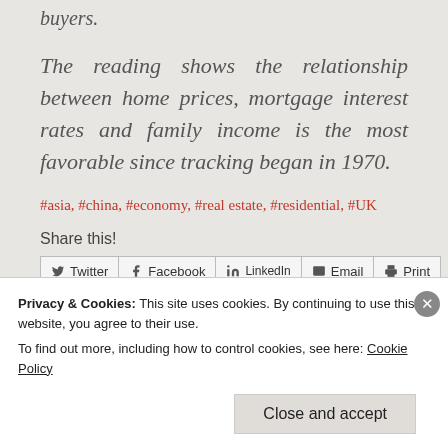buyers.
The reading shows the relationship between home prices, mortgage interest rates and family income is the most favorable since tracking began in 1970.
#asia, #china, #economy, #real estate, #residential, #UK
Share this!
Privacy & Cookies: This site uses cookies. By continuing to use this website, you agree to their use.
To find out more, including how to control cookies, see here: Cookie Policy